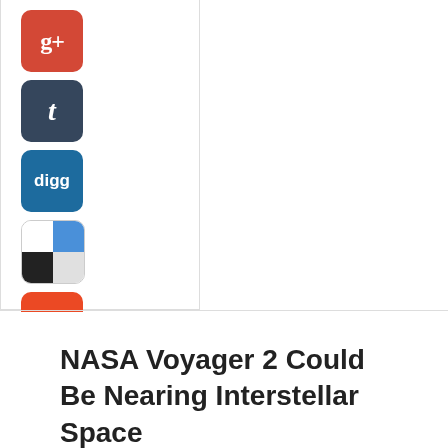[Figure (infographic): Social sharing buttons: Google+, Tumblr, Digg, Delicious, StumbleUpon, Reddit, Email]
NASA Voyager 2 Could Be Nearing Interstellar Space
October 7, 2013  News  8 Comments